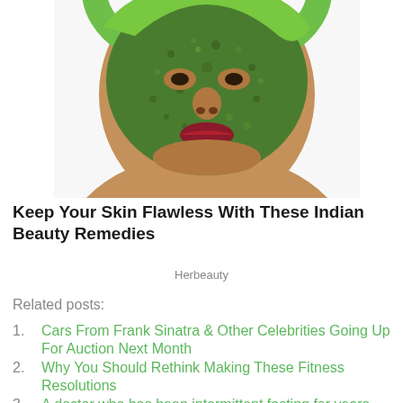[Figure (photo): A person's face covered with a green herbal/seaweed facial mask, wearing a green headband, viewed from slightly below, on a white background.]
Keep Your Skin Flawless With These Indian Beauty Remedies
Herbeauty
Related posts:
Cars From Frank Sinatra & Other Celebrities Going Up For Auction Next Month
Why You Should Rethink Making These Fitness Resolutions
A doctor who has been intermittent fasting for years said he quit because his new study showed it has little benefit for health or weight loss
Christina Milians hottest snaps – teeny